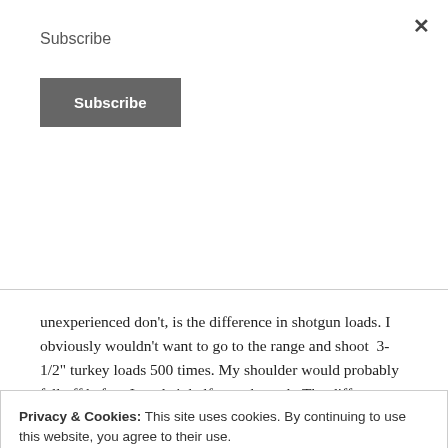Subscribe
Subscribe
unexperienced don't, is the difference in shotgun loads. I obviously wouldn't want to go to the range and shoot 3-1/2" turkey loads 500 times. My shoulder would probably fall off before I made it half way through. The different shells produce different power. Therefore, we use some for blasting clays and others for knocking down bit tom
Privacy & Cookies: This site uses cookies. By continuing to use this website, you agree to their use.
To find out more, including how to control cookies, see here: Cookie Policy
Close and accept
If a first-timer heads to the local gun store and look for